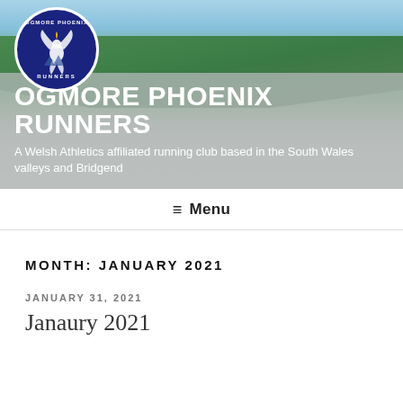[Figure (photo): Header banner with Welsh valley landscape photo (hills, green slopes, blue sky) with Ogmore Phoenix Runners circular logo (dark navy with phoenix bird) in top-left corner]
OGMORE PHOENIX RUNNERS
A Welsh Athletics affiliated running club based in the South Wales valleys and Bridgend
≡ Menu
MONTH: JANUARY 2021
JANUARY 31, 2021
Janaury 2021